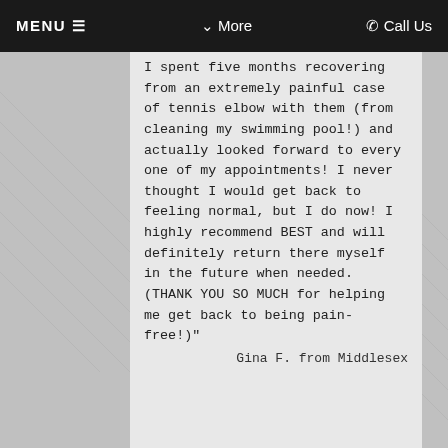MENU ≡    ↓ More    ☎ Call Us
I spent five months recovering from an extremely painful case of tennis elbow with them (from cleaning my swimming pool!) and actually looked forward to every one of my appointments! I never thought I would get back to feeling normal, but I do now! I highly recommend BEST and will definitely return there myself in the future when needed. (THANK YOU SO MUCH for helping me get back to being pain-free!)"
Gina F. from Middlesex